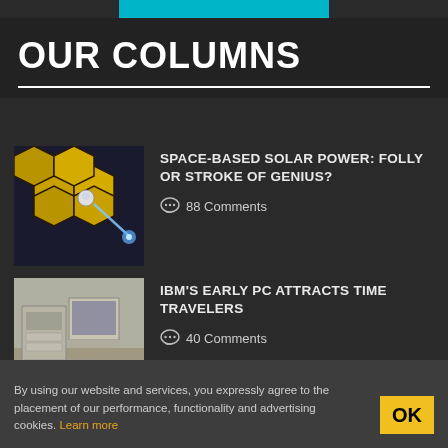OUR COLUMNS
[Figure (illustration): Space-based solar power illustration: gold hexagonal mirror panels with a small astronaut figure and blue energy beam]
SPACE-BASED SOLAR POWER: FOLLY OR STROKE OF GENIUS?
💬 88 Comments
[Figure (photo): Photo of an early IBM personal computer setup with keyboard, monitor, and disk drives on a desk]
IBM'S EARLY PC ATTRACTS TIME TRAVELERS
💬 40 Comments
By using our website and services, you expressly agree to the placement of our performance, functionality and advertising cookies. Learn more